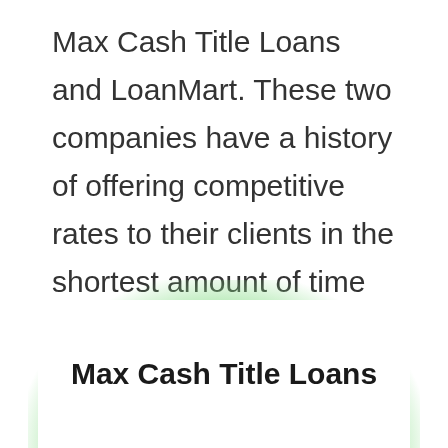Max Cash Title Loans and LoanMart. These two companies have a history of offering competitive rates to their clients in the shortest amount of time possible.
Max Cash Title Loans